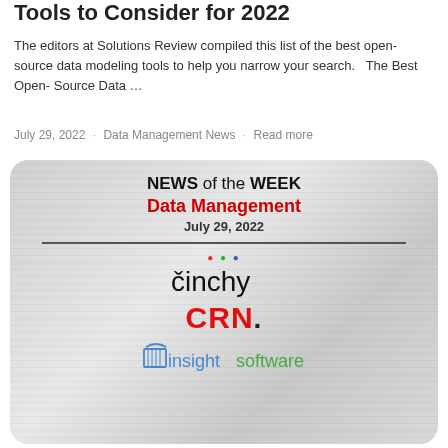Tools to Consider for 2022
The editors at Solutions Review compiled this list of the best open-source data modeling tools to help you narrow your search.   The Best Open-Source Data …
July 29, 2022 · Data Management News · Read more
[Figure (infographic): News of the Week card showing 'NEWS of the WEEK Data Management July 29, 2022' with logos for cinchy, CRN, and insightsoftware on a gray newspaper-textured background with rounded corners.]